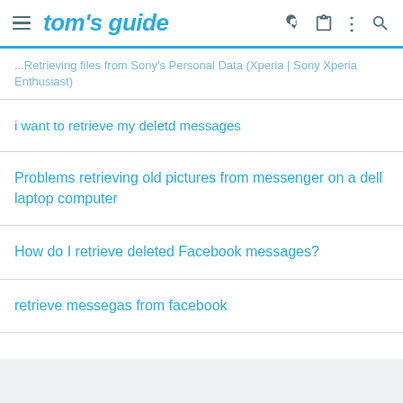tom's guide
...Retrieving files from Sony's Personal Data (Xperia | Sony Xperia Enthusiast)
i want to retrieve my deletd messages
Problems retrieving old pictures from messenger on a dell laptop computer
How do I retrieve deleted Facebook messages?
retrieve messegas from facebook